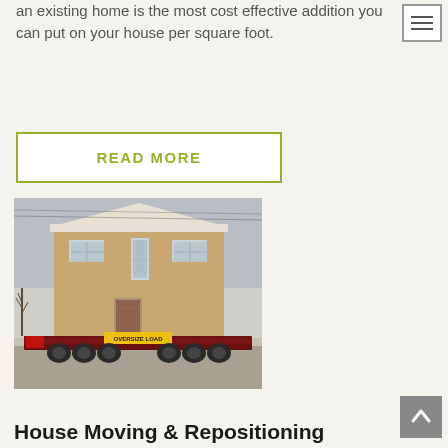an existing home is the most cost effective addition you can put on your house per square foot.
READ MORE
[Figure (photo): A large two-story brick house being transported on an oversized flatbed truck on a road in winter conditions.]
House Moving & Repositioning